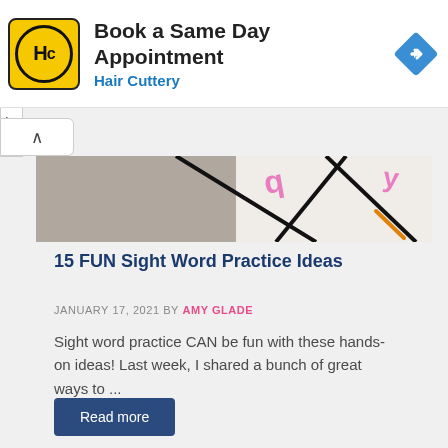[Figure (screenshot): Advertisement banner for Hair Cuttery: yellow logo with HC initials in circle, text 'Book a Same Day Appointment', 'Hair Cuttery' in blue, blue diamond navigation icon on right]
[Figure (photo): Cropped photo of colorful math/activity worksheets or flashcards with lines, numbers and pink/orange/yellow markings on a gray surface]
15 FUN Sight Word Practice Ideas
JANUARY 17, 2021 BY AMY GLADE
Sight word practice CAN be fun with these hands-on ideas! Last week, I shared a bunch of great ways to ...
Read more